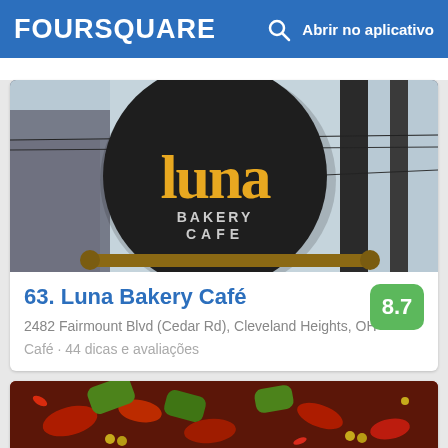FOURSQUARE   🔍  Abrir no aplicativo
[Figure (photo): Photo of Luna Bakery Cafe sign — a large circular dark sign with 'luna' in yellow letters and 'BAKERY CAFE' in white letters, with a rolling pin mounted below it. Wooden utility pole visible on the right, sky in background.]
63. Luna Bakery Café
2482 Fairmount Blvd (Cedar Rd), Cleveland Heights, OH
Café · 44 dicas e avaliações
[Figure (photo): Close-up photo of a food dish — appears to be a stir-fry with red and green bell peppers, red chili peppers, and corn in a dark sauce.]